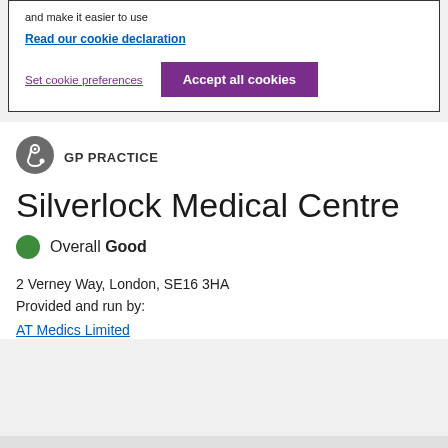and make it easier to use
Read our cookie declaration
Set cookie preferences
Accept all cookies
[Figure (logo): GP Practice stethoscope icon in grey circle]
GP PRACTICE
Silverlock Medical Centre
Overall Good
2 Verney Way, London, SE16 3HA
Provided and run by:
AT Medics Limited